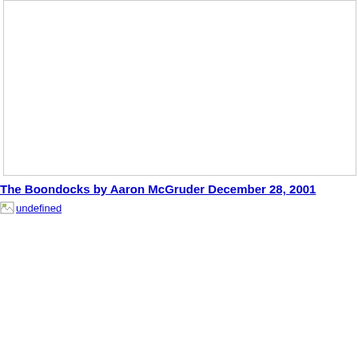[Figure (other): Empty white rectangle with thin gray border, representing a missing or unloaded image in the top portion of the page.]
The Boondocks by Aaron McGruder December 28, 2001
[Figure (other): Broken image placeholder labeled 'undefined' representing a comic strip image that failed to load.]